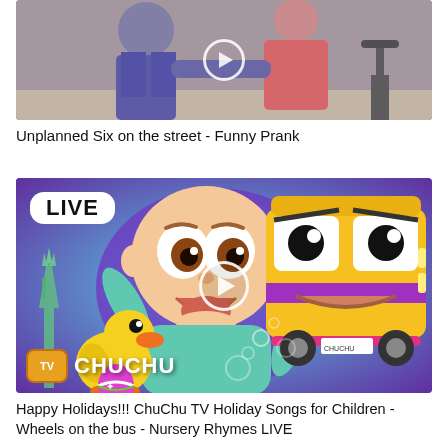[Figure (screenshot): Video thumbnail showing two people in an indoor setting, partially cropped, with a play button overlay]
Unplanned Six on the street - Funny Prank
[Figure (screenshot): ChuChu TV animated video thumbnail showing a cartoon baby, a yellow duck, a yellow bus with eyes, Statue of Liberty silhouette, purple background, LIVE badge, ChuChu TV logo, and a play button overlay]
Happy Holidays!!! ChuChu TV Holiday Songs for Children - Wheels on the bus - Nursery Rhymes LIVE